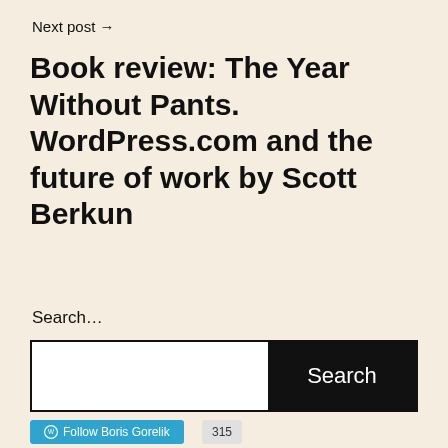Next post →
Book review: The Year Without Pants. WordPress.com and the future of work by Scott Berkun
Search…
Search
Follow Boris Gorelik  315